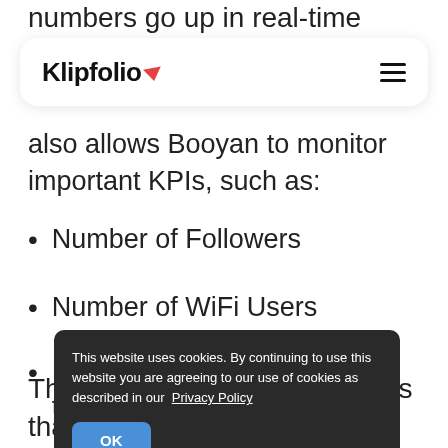numbers go up in real-time when
[Figure (screenshot): Klipfolio navigation bar with logo and hamburger menu]
also allows Booyan to monitor important KPIs, such as:
Number of Followers
Number of WiFi Users
Number of Emails Captured through
[Figure (screenshot): Cookie consent banner overlay: 'This website uses cookies. By continuing to use this website you are agreeing to our use of cookies as described in our Privacy Policy' with OK button]
This shows an element of KPIs that most